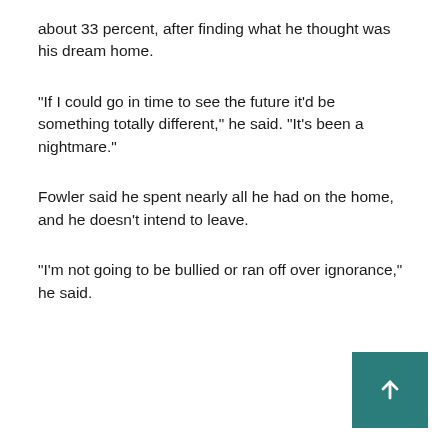about 33 percent, after finding what he thought was his dream home.
“If I could go in time to see the future it’d be something totally different,” he said. “It’s been a nightmare.”
Fowler said he spent nearly all he had on the home, and he doesn’t intend to leave.
“I’m not going to be bullied or ran off over ignorance,” he said.
[Figure (other): Teal/green scroll-to-top button with upward arrow in bottom right corner]